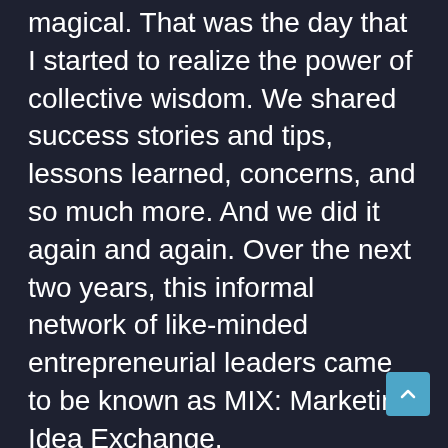magical. That was the day that I started to realize the power of collective wisdom. We shared success stories and tips, lessons learned, concerns, and so much more. And we did it again and again. Over the next two years, this informal network of like-minded entrepreneurial leaders came to be known as MIX: Marketing Idea Exchange.
Every single member survived and thrived through what was, at the time, the most significant economic challenge of our modern time. While obviously their affiliation with one another was only one of many factors that led to their success, there is no question that the support of like-